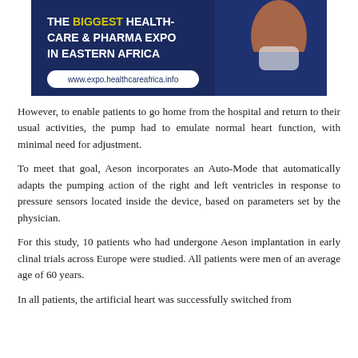[Figure (advertisement): Banner advertisement: 'THE BIGGEST HEALTHCARE & PHARMA EXPO IN EASTERN AFRICA' with website www.expo.healthcareafrica.info on a dark blue background with a person in medical context]
However, to enable patients to go home from the hospital and return to their usual activities, the pump had to emulate normal heart function, with minimal need for adjustment.
To meet that goal, Aeson incorporates an Auto-Mode that automatically adapts the pumping action of the right and left ventricles in response to pressure sensors located inside the device, based on parameters set by the physician.
For this study, 10 patients who had undergone Aeson implantation in early clinal trials across Europe were studied. All patients were men of an average age of 60 years.
In all patients, the artificial heart was successfully switched from